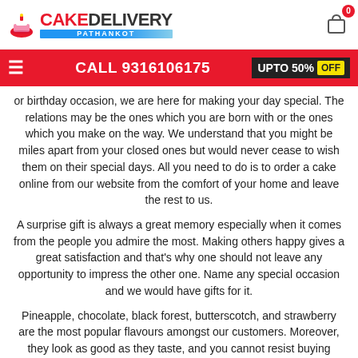CAKE DELIVERY PATHANKOT
CALL 9316106175  UPTO 50% OFF
or birthday occasion, we are here for making your day special. The relations may be the ones which you are born with or the ones which you make on the way. We understand that you might be miles apart from your closed ones but would never cease to wish them on their special days. All you need to do is to order a cake online from our website from the comfort of your home and leave the rest to us.
A surprise gift is always a great memory especially when it comes from the people you admire the most. Making others happy gives a great satisfaction and that's why one should not leave any opportunity to impress the other one. Name any special occasion and we would have gifts for it.
Pineapple, chocolate, black forest, butterscotch, and strawberry are the most popular flavours amongst our customers. Moreover, they look as good as they taste, and you cannot resist buying them!
We intend to deliver some undeniably tasty cakes in Pathankot to add the flavour of our Love and Passion to your merry-